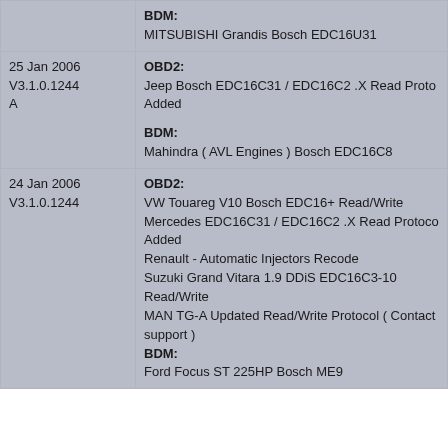| Date/Version | Description |
| --- | --- |
|  | BDM:
MITSUBISHI Grandis Bosch EDC16U31 |
| 25 Jan 2006
V3.1.0.1244
A | OBD2:
Jeep Bosch EDC16C31 / EDC16C2 .X Read Proto... Added

BDM:
Mahindra ( AVL Engines ) Bosch EDC16C8 |
| 24 Jan 2006
V3.1.0.1244 | OBD2:
VW Touareg V10 Bosch EDC16+ Read/Write
Mercedes EDC16C31 / EDC16C2 .X Read Protoco... Added
Renault - Automatic Injectors Recode
Suzuki Grand Vitara 1.9 DDiS EDC16C3-10 Read/Write
MAN TG-A Updated Read/Write Protocol ( Contact support )
BDM:
Ford Focus ST 225HP Bosch ME9 |